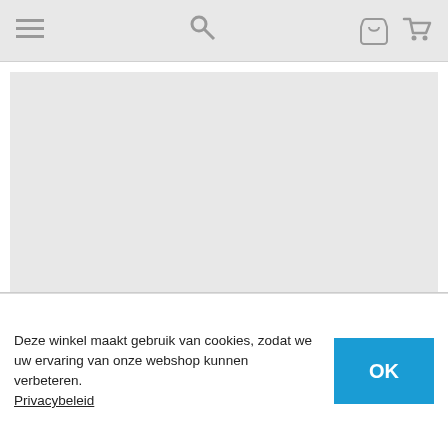Navigation bar with hamburger menu, search, phone and cart icons
[Figure (photo): Light gray placeholder rectangle for product image]
Nilton's Brushed Promo Cap
Artikelnummer:  NL1934
€ 3,15
Deze winkel maakt gebruik van cookies, zodat we uw ervaring van onze webshop kunnen verbeteren. Privacybeleid